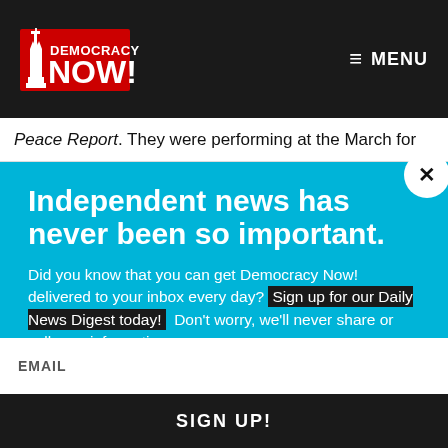Democracy Now! — MENU
Peace Report. They were performing at the March for
Independent news has never been so important.
Did you know that you can get Democracy Now! delivered to your inbox every day? Sign up for our Daily News Digest today! Don't worry, we'll never share or sell your information.
EMAIL
SIGN UP!